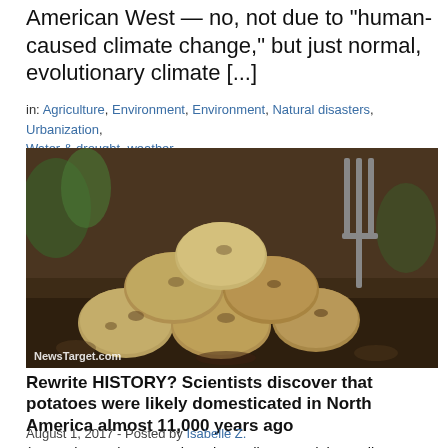American West — no, not due to "human-caused climate change," but just normal, evolutionary climate [...]
in: Agriculture, Environment, Environment, Natural disasters, Urbanization, Water & drought, weather
[Figure (photo): A pile of freshly dug potatoes with soil on them, with a garden fork visible in the background and green plants. Watermark: NewsTarget.com]
Rewrite HISTORY? Scientists discover that potatoes were likely domesticated in North America almost 11,000 years ago
August 1, 2017 - Posted by Isabelle Z.
(Natural News) Researchers have discovered the earliest